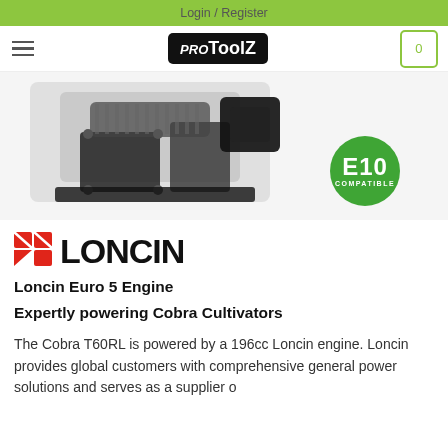Login / Register
[Figure (screenshot): ProToolZ website navigation bar with hamburger menu on left, ProToolZ logo in center, and shopping cart icon (0) on right]
[Figure (photo): Loncin 196cc engine photo with a green E10 Compatible badge overlaid in the bottom right area]
[Figure (logo): Loncin brand logo in red and black]
Loncin Euro 5 Engine
Expertly powering Cobra Cultivators
The Cobra T60RL is powered by a 196cc Loncin engine. Loncin provides global customers with comprehensive general power solutions and serves as a supplier o